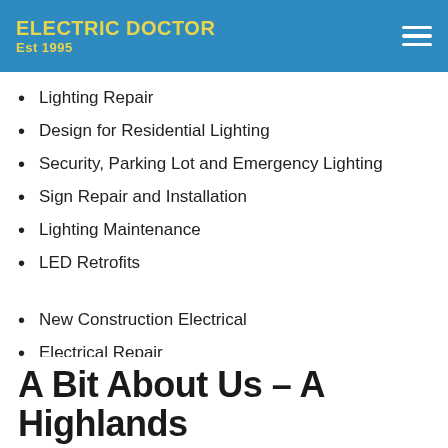Electric Doctor Est 1995
Lighting Repair
Design for Residential Lighting
Security, Parking Lot and Emergency Lighting
Sign Repair and Installation
Lighting Maintenance
LED Retrofits
New Construction Electrical
Electrical Repair
Wiring for Hot Tubs
Kitchen Remodel Wiring
Surge Protection
Aluminum Wire Repair
A Bit About Us – A Highlands